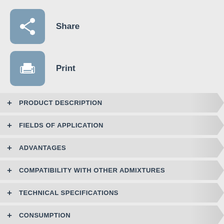[Figure (infographic): Share icon: blue-grey rounded square with a share/network icon (two circles connected with lines to a third)]
Share
[Figure (infographic): Print icon: blue-grey rounded square with a printer icon]
Print
+ PRODUCT DESCRIPTION
+ FIELDS OF APPLICATION
+ ADVANTAGES
+ COMPATIBILITY WITH OTHER ADMIXTURES
+ TECHNICAL SPECIFICATIONS
+ CONSUMPTION
+ SHELF LIFE AND  STORAGE